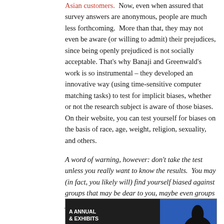Asian customers.  Now, even when assured that survey answers are anonymous, people are much less forthcoming.  More than that, they may not even be aware (or willing to admit) their prejudices, since being openly prejudiced is not socially acceptable. That's why Banaji and Greenwald's work is so instrumental – they developed an innovative way (using time-sensitive computer matching tasks) to test for implicit biases, whether or not the research subject is aware of those biases.  On their website, you can test yourself for biases on the basis of race, age, weight, religion, sexuality, and others.
A word of warning, however: don't take the test unless you really want to know the results.  You may (in fact, you likely will) find yourself biased against groups that may be dear to you, maybe even groups you belong to.  Tread carefully, and use whatever information you glean to help you correct for your biases in whatever way you can.
[Figure (photo): Dark screenshot showing text 'A ANNUAL & EXHIBITS' on the left side and a blue background with a silhouetted head on the right side.]